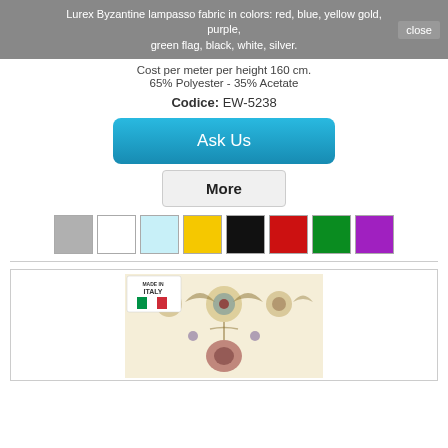Lurex Byzantine lampasso fabric in colors: red, blue, yellow gold, purple, green flag, black, white, silver.
Cost per meter per height 160 cm.
65% Polyester - 35% Acetate
Codice: EW-5238
[Figure (screenshot): Blue 'Ask Us' button]
[Figure (screenshot): Grey 'More' button]
[Figure (infographic): Color swatches: silver/grey, white, light blue, yellow/gold, black, red, green, purple]
[Figure (photo): Fabric product image showing Lurex Byzantine lampasso pattern with Made in Italy label, cream/gold/floral design]